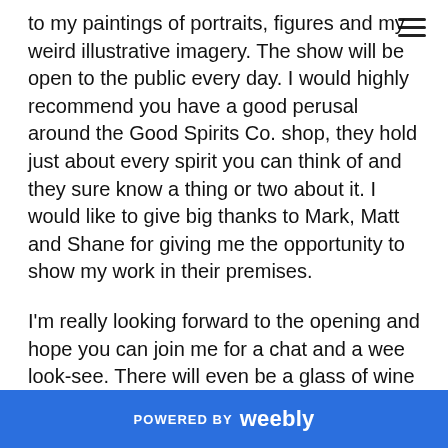to my paintings of portraits, figures and my weird illustrative imagery. The show will be open to the public every day. I would highly recommend you have a good perusal around the Good Spirits Co. shop, they hold just about every spirit you can think of and they sure know a thing or two about it. I would like to give big thanks to Mark, Matt and Shane for giving me the opportunity to show my work in their premises.
I'm really looking forward to the opening and hope you can join me for a chat and a wee look-see. There will even be a glass of wine in it for you. All originals will be available for purchase as well as mounted prints. If
POWERED BY weebly